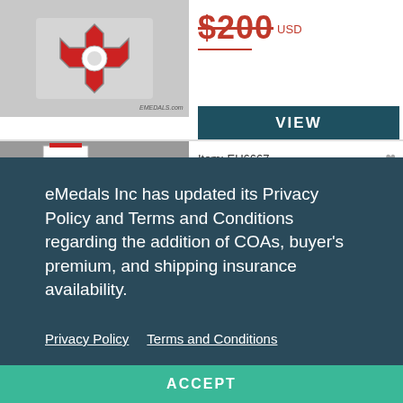[Figure (photo): Product photo of a military medal/cross with red enamel on grey background, with EMEDALS.com watermark]
$200 USD
VIEW
[Figure (photo): Second product listing image with SOLD badge overlay]
Item: EU6667
eMedals Inc has updated its Privacy Policy and Terms and Conditions regarding the addition of COAs, buyer's premium, and shipping insurance availability.
Privacy Policy    Terms and Conditions
ACCEPT
A Bulgarian Military Order Of